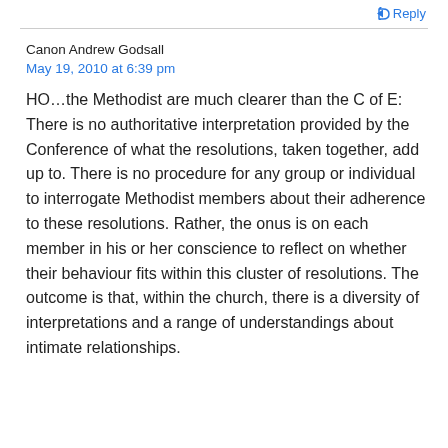Reply
Canon Andrew Godsall
May 19, 2010 at 6:39 pm
HO…the Methodist are much clearer than the C of E: There is no authoritative interpretation provided by the Conference of what the resolutions, taken together, add up to. There is no procedure for any group or individual to interrogate Methodist members about their adherence to these resolutions. Rather, the onus is on each member in his or her conscience to reflect on whether their behaviour fits within this cluster of resolutions. The outcome is that, within the church, there is a diversity of interpretations and a range of understandings about intimate relationships.